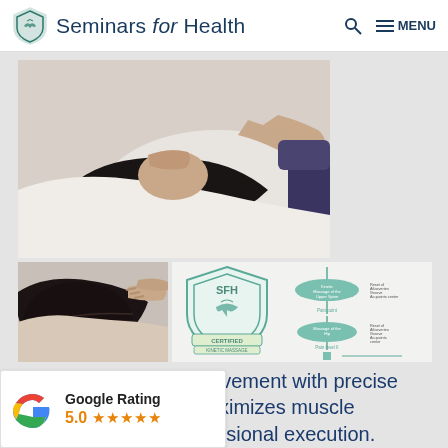Seminars for Health
[Figure (photo): Person receiving neck/shoulder massage treatment, therapist hands visible, patient lying down with dark hair]
[Figure (photo): Close-up of massage technique being applied to shoulder/neck area]
[Figure (logo): SFH Certified Kinetic Massage shield badge with bird logo in teal/green, and a flowchart diagram showing massage treatment protocol]
Combining joint movement with precise application maximizes muscle this 3-dimensional execution.
Google Rating 5.0 ★★★★★